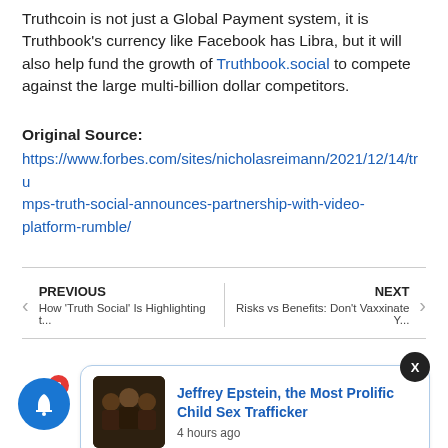Truthcoin is not just a Global Payment system, it is Truthbook's currency like Facebook has Libra, but it will also help fund the growth of Truthbook.social to compete against the large multi-billion dollar competitors.
Original Source:
https://www.forbes.com/sites/nicholasreimann/2021/12/14/trumps-truth-social-announces-partnership-with-video-platform-rumble/
PREVIOUS
How 'Truth Social' Is Highlighting t...
NEXT
Risks vs Benefits: Don't Vaxxinate Y...
[Figure (photo): Group photo of three men in dark clothing]
Jeffrey Epstein, the Most Prolific Child Sex Trafficker
4 hours ago